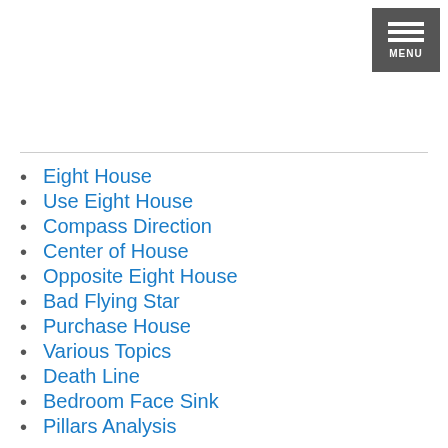Eight House
Use Eight House
Compass Direction
Center of House
Opposite Eight House
Bad Flying Star
Purchase House
Various Topics
Death Line
Bedroom Face Sink
Pillars Analysis